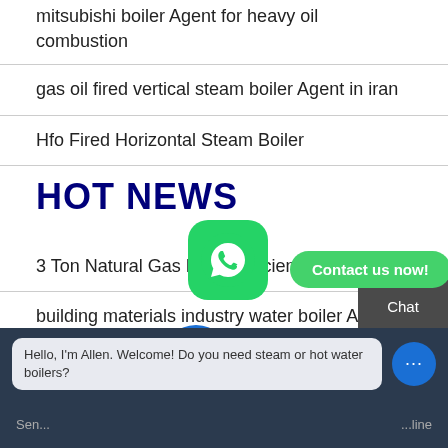mitsubishi boiler Agent for heavy oil combustion
gas oil fired vertical steam boiler Agent in iran
Hfo Fired Horizontal Steam Boiler
HOT NEWS
3 Ton Natural Gas Boiler Efficiency Zbg Boiler
building materials industry water boiler Agents
1 ton minimercial steam boiler prices for sale
10 tons h Natural Gas Fired bo...
Modern Heating Cast Iron B...
Hello, I'm Allen. Welcome! Do you need steam or hot water boilers?
Sen... message... ...line